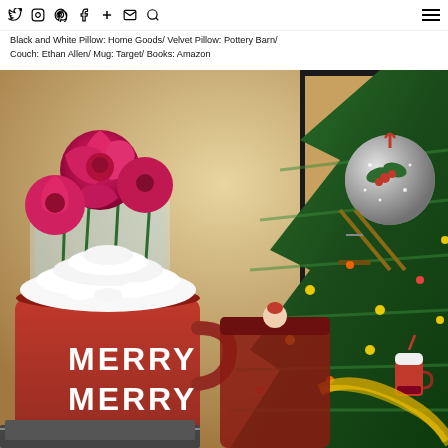Social icons: Twitter, Instagram, Pinterest, Facebook, Plus, Email, Search; Hamburger menu
Black and White Pillow: Home Goods/ Velvet Pillow: Pottery Barn/ Couch: Ethan Allen/ Mug: Target/ Books: Amazon
[Figure (photo): Christmas scene with red roses in a glass vase, a red 'MERRY MERRY' mug topped with whipped cream and marshmallows, a Christmas tree decorated with lights, a silver glitter ornament with holly, a miniature ski ornament, a small Starbucks cup ornament, and golden ribbon.]